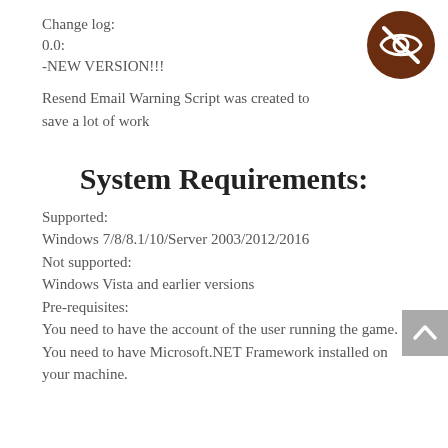Change log:
0.0:
-NEW VERSION!!!
[Figure (logo): Brown circular icon with a crossed-out eye symbol]
Resend Email Warning Script was created to save a lot of work
System Requirements:
Supported:
Windows 7/8/8.1/10/Server 2003/2012/2016
Not supported:
Windows Vista and earlier versions
Pre-requisites:
You need to have the account of the user running the game.
You need to have Microsoft.NET Framework installed on your machine.